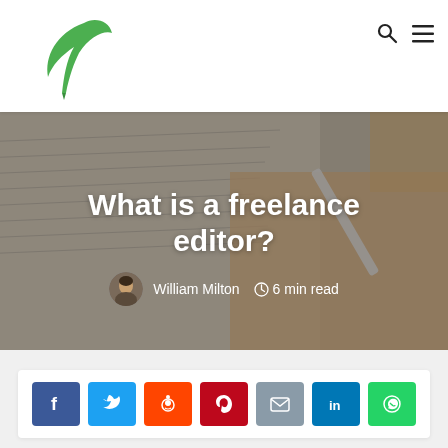[Figure (logo): Green feather/quill pen logo with horizontal line beneath]
[Figure (photo): Background photo of a hand writing on paper with a pen, shown from above at an angle. Text overlaid: 'What is a freelance editor?' with author info.]
What is a freelance editor?
William Milton   6 min read
[Figure (infographic): Row of social sharing buttons: Facebook (blue), Twitter (light blue), Reddit (orange-red), Pinterest (red), Email (gray), LinkedIn (dark blue), WhatsApp (green)]